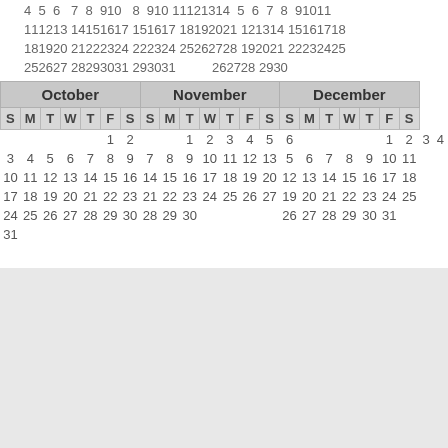| October S | M | T | W | T | F | S | November S | M | T | W | T | F | S | December S | M | T | W | T | F | S |
| --- | --- | --- | --- | --- | --- | --- | --- | --- | --- | --- | --- | --- | --- | --- | --- | --- | --- | --- | --- | --- |
|  |  |  |  | 1 | 2 |  | 1 | 2 | 3 | 4 | 5 | 6 |  |  | 1 | 2 | 3 | 4 |
| 3 | 4 | 5 | 6 | 7 | 8 | 9 | 7 | 8 | 9 | 10 | 11 | 12 | 13 | 5 | 6 | 7 | 8 | 9 | 10 | 11 |
| 10 | 11 | 12 | 13 | 14 | 15 | 16 | 14 | 15 | 16 | 17 | 18 | 19 | 20 | 12 | 13 | 14 | 15 | 16 | 17 | 18 |
| 17 | 18 | 19 | 20 | 21 | 22 | 23 | 21 | 22 | 23 | 24 | 25 | 26 | 27 | 19 | 20 | 21 | 22 | 23 | 24 | 25 |
| 24 | 25 | 26 | 27 | 28 | 29 | 30 | 28 | 29 | 30 |  |  |  |  | 26 | 27 | 28 | 29 | 30 | 31 |  |
| 31 |  |  |  |  |  |  |  |  |  |  |  |  |  |  |  |  |  |  |  |  |